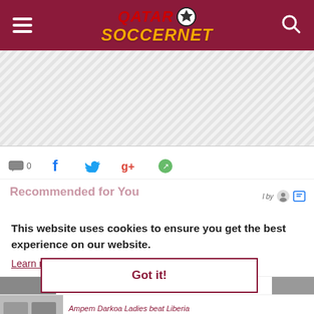Qatar Soccernet
[Figure (screenshot): Qatar Soccernet website header with hamburger menu on left, Qatar Soccernet logo in center, and search icon on right, on dark red background]
[Figure (other): Advertisement banner area with diagonal striped pattern placeholder]
[Figure (screenshot): Social sharing icons row: comment count 0, Facebook, Twitter, Google+, share button]
This website uses cookies to ensure you get the best experience on our website.
Learn more
Got it!
Recommended for You
Ampem Darkoa Ladies beat Liberia Women's Champions League qualifiers